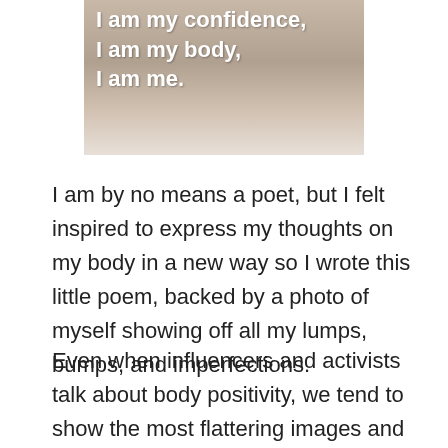[Figure (photo): Photo of a person's midsection showing their belly, with white bold text overlay reading: 'I am my confidence, I am my body, I am me.']
I am by no means a poet, but I felt inspired to express my thoughts on my body in a new way so I wrote this little poem, backed by a photo of myself showing off all my lumps, bumps, and imperfections.
Even when influencers and activists talk about body positivity, we tend to show the most flattering images and angles, and only really highlight the positive parts of our journeys, so I wanted to show that the perceived negatives